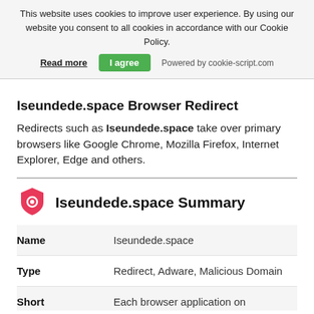This website uses cookies to improve user experience. By using our website you consent to all cookies in accordance with our Cookie Policy.
Read more   I agree   Powered by cookie-script.com
Iseundede.space Browser Redirect
Redirects such as Iseundede.space take over primary browsers like Google Chrome, Mozilla Firefox, Internet Explorer, Edge and others.
Iseundede.space Summary
|  |  |
| --- | --- |
| Name | Iseundede.space |
| Type | Redirect, Adware, Malicious Domain |
| Short | Each browser application on |